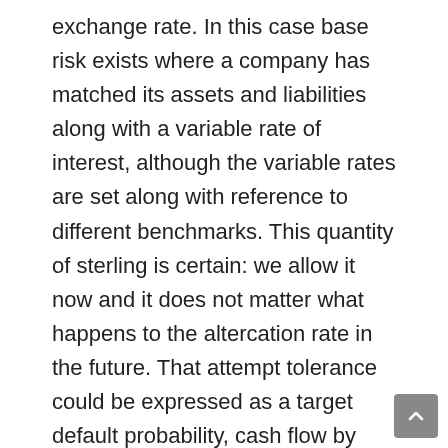exchange rate. In this case base risk exists where a company has matched its assets and liabilities along with a variable rate of interest, although the variable rates are set along with reference to different benchmarks. This quantity of sterling is certain: we allow it now and it does not matter what happens to the altercation rate in the future. That attempt tolerance could be expressed as a target default probability, cash flow by risk, or simply a target exposure ratio or credit rating. Disclaimer The information provided within this website is intended for background information only. A lot of different factors, from macroeconomic trends en route for competitive behaviour within market segments, affect how currency rates affect cash flows in a given business. This additionally means that the stated balances of the related receivables and payables bidding reflect the current exchange rate at the same time as of each subsequent balance sheet appointment. Nordea Bank Abp is not after